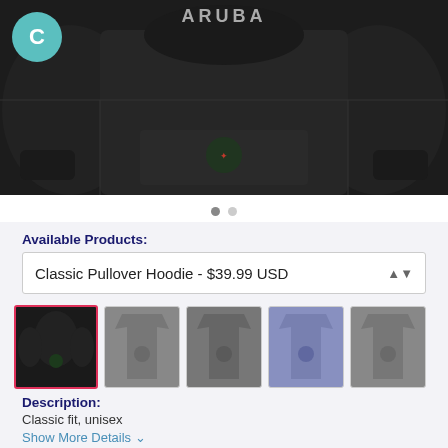[Figure (photo): Black pullover hoodie shown on a model/display, with 'ARUBA' text visible at top. The hoodie is black with a design on the front. A teal circle with letter C is visible in the top left corner.]
● ●
Available Products:
Classic Pullover Hoodie - $39.99 USD
[Figure (photo): Row of 5 product thumbnail images showing various t-shirt and hoodie styles with Christmas designs. First thumbnail (black hoodie) is selected with a red border.]
Description:
Classic fit, unisex
Show More Details ∨